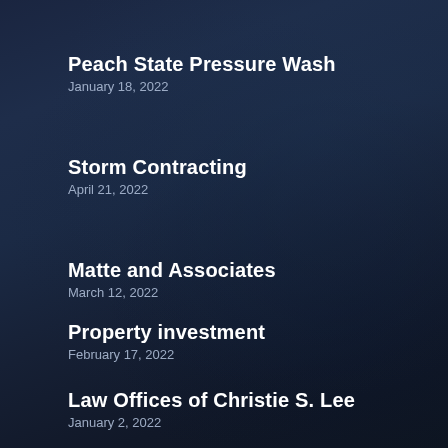Peach State Pressure Wash
January 18, 2022
Storm Contracting
April 21, 2022
Matte and Associates
March 12, 2022
Property investment
February 17, 2022
Law Offices of Christie S. Lee
January 2, 2022